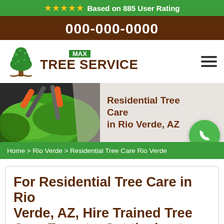Based on 885 User Rating
000-000-0000
[Figure (logo): Max Tree Service logo with green tree icon]
[Figure (photo): Hero banner showing tree pruning tools on green shrub with text: Residential Tree Care in Rio Verde, AZ]
Home > Rio Verde > Residential Tree Care Rio Verde
For Residential Tree Care in Rio Verde, AZ, Hire Trained Tree Care Experts. Get the best...